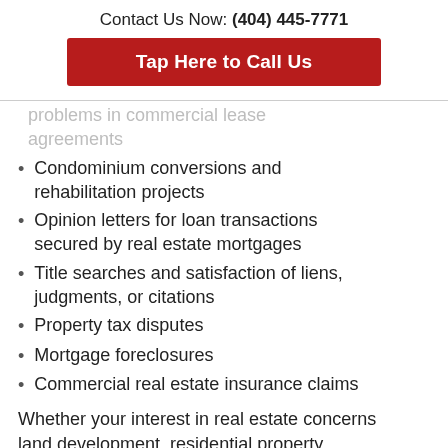Contact Us Now: (404) 445-7771
Tap Here to Call Us
problems in commercial lease agreements
Condominium conversions and rehabilitation projects
Opinion letters for loan transactions secured by real estate mortgages
Title searches and satisfaction of liens, judgments, or citations
Property tax disputes
Mortgage foreclosures
Commercial real estate insurance claims
Whether your interest in real estate concerns land development, residential property